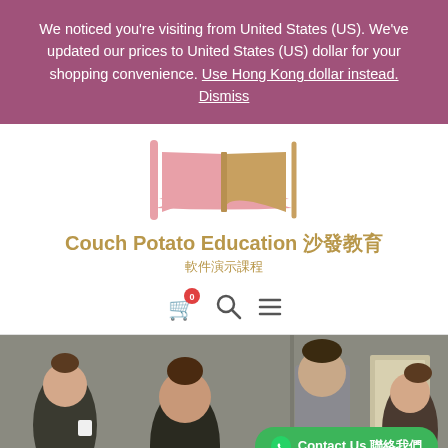We noticed you’re visiting from United States (US). We’ve updated our prices to United States (US) dollar for your shopping convenience. Use Hong Kong dollar instead. Dismiss
[Figure (logo): Couch Potato Education logo: stylized open book with pink pages and gold spine]
Couch Potato Education 沙發教育
軟件演示課程
[Figure (infographic): Navigation icons: red shopping cart with badge showing 0, search icon, hamburger menu icon]
[Figure (photo): Hero photo of people gathered around a table studying or working together in a room]
[Figure (infographic): Green rounded button with WhatsApp icon and text: Contact Us 聯絡我們]
Privacy Policy